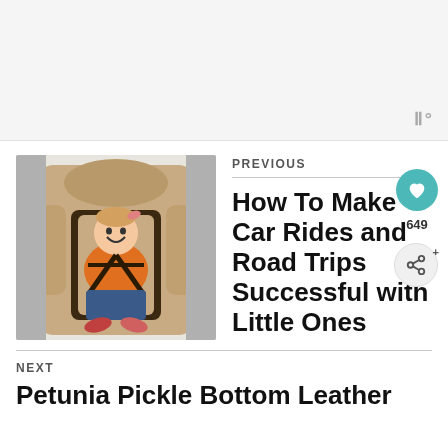[Figure (other): Top advertisement/banner area with a small audio icon in the bottom-right corner]
PREVIOUS
[Figure (photo): Young smiling girl in an orange shirt and jeans sitting in a tan/beige car seat with harness straps]
How To Make Car Rides and Road Trips Successful with Little Ones
649
NEXT
Petunia Pickle Bottom Leather